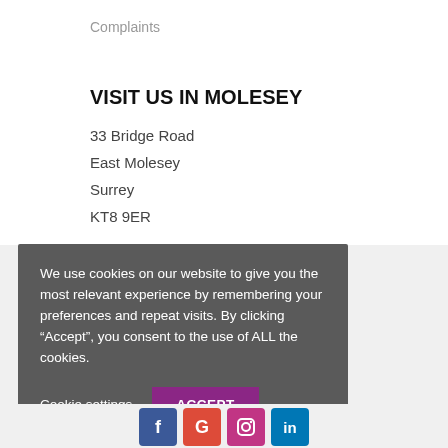Complaints
VISIT US IN MOLESEY
33 Bridge Road
East Molesey
Surrey
KT8 9ER
We use cookies on our website to give you the most relevant experience by remembering your preferences and repeat visits. By clicking “Accept”, you consent to the use of ALL the cookies.
Cookie settings
ACCEPT
[Figure (other): Social media icons: Facebook, Google+, Instagram, LinkedIn]